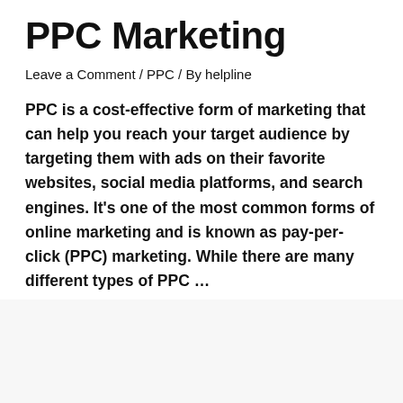PPC Marketing
Leave a Comment / PPC / By helpline
PPC is a cost-effective form of marketing that can help you reach your target audience by targeting them with ads on their favorite websites, social media platforms, and search engines. It’s one of the most common forms of online marketing and is known as pay-per-click (PPC) marketing. While there are many different types of PPC …
Read More »